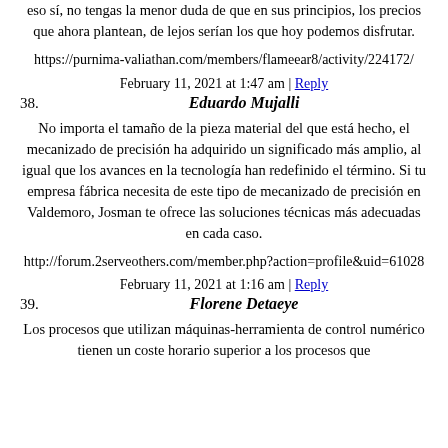eso sí, no tengas la menor duda de que en sus principios, los precios que ahora plantean, de lejos serían los que hoy podemos disfrutar.
https://purnima-valiathan.com/members/flameear8/activity/224172/
February 11, 2021 at 1:47 am | Reply
38. Eduardo Mujalli
No importa el tamaño de la pieza material del que está hecho, el mecanizado de precisión ha adquirido un significado más amplio, al igual que los avances en la tecnología han redefinido el término. Si tu empresa fábrica necesita de este tipo de mecanizado de precisión en Valdemoro, Josman te ofrece las soluciones técnicas más adecuadas en cada caso.
http://forum.2serveothers.com/member.php?action=profile&uid=61028
February 11, 2021 at 1:16 am | Reply
39. Florene Detaeye
Los procesos que utilizan máquinas-herramienta de control numérico tienen un coste horario superior a los procesos que